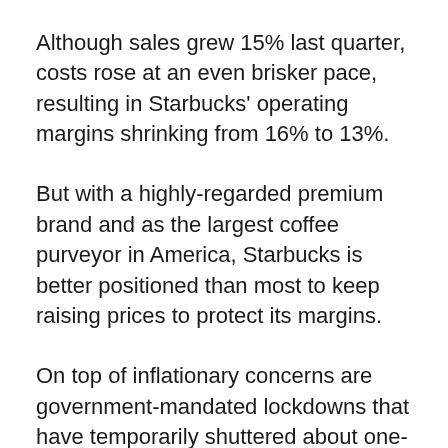Although sales grew 15% last quarter, costs rose at an even brisker pace, resulting in Starbucks' operating margins shrinking from 16% to 13%.
But with a highly-regarded premium brand and as the largest coffee purveyor in America, Starbucks is better positioned than most to keep raising prices to protect its margins.
On top of inflationary concerns are government-mandated lockdowns that have temporarily shuttered about one-third of Starbucks locations in China – a country expected to be a key driver of the company's long-term growth.